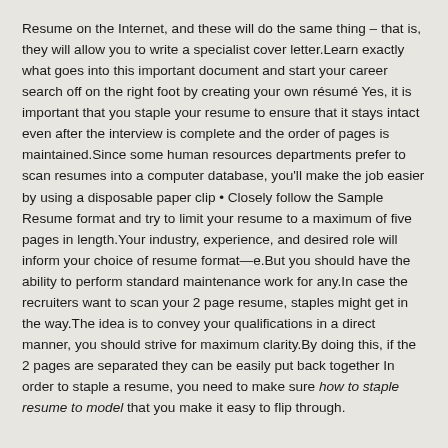Resume on the Internet, and these will do the same thing – that is, they will allow you to write a specialist cover letter.Learn exactly what goes into this important document and start your career search off on the right foot by creating your own résumé Yes, it is important that you staple your resume to ensure that it stays intact even after the interview is complete and the order of pages is maintained.Since some human resources departments prefer to scan resumes into a computer database, you'll make the job easier by using a disposable paper clip • Closely follow the Sample Resume format and try to limit your resume to a maximum of five pages in length.Your industry, experience, and desired role will inform your choice of resume format—e.But you should have the ability to perform standard maintenance work for any.In case the recruiters want to scan your 2 page resume, staples might get in the way.The idea is to convey your qualifications in a direct manner, you should strive for maximum clarity.By doing this, if the 2 pages are separated they can be easily put back together In order to staple a resume, you need to make sure how to staple resume to model that you make it easy to flip through.